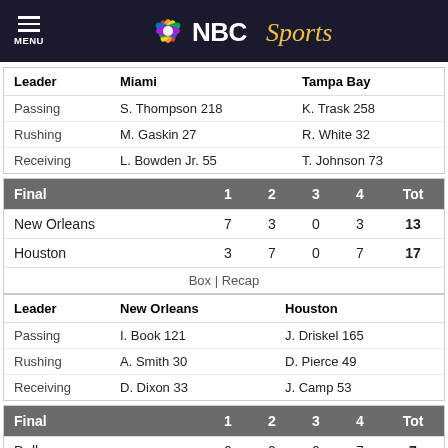NBC Sports
| Leader | Miami | Tampa Bay |
| --- | --- | --- |
| Passing | S. Thompson 218 | K. Trask 258 |
| Rushing | M. Gaskin 27 | R. White 32 |
| Receiving | L. Bowden Jr. 55 | T. Johnson 73 |
| Final | 1 | 2 | 3 | 4 | Tot |
| --- | --- | --- | --- | --- | --- |
| New Orleans | 7 | 3 | 0 | 3 | 13 |
| Houston | 3 | 7 | 0 | 7 | 17 |
Box | Recap
| Leader | New Orleans | Houston |
| --- | --- | --- |
| Passing | I. Book 121 | J. Driskel 165 |
| Rushing | A. Smith 30 | D. Pierce 49 |
| Receiving | D. Dixon 33 | J. Camp 53 |
| Final | 1 | 2 | 3 | 4 | Tot |
| --- | --- | --- | --- | --- | --- |
| Dallas | 0 | 0 | 0 | 7 | 7 |
| Denver | 0 | 17 | 0 | 0 | 17 |